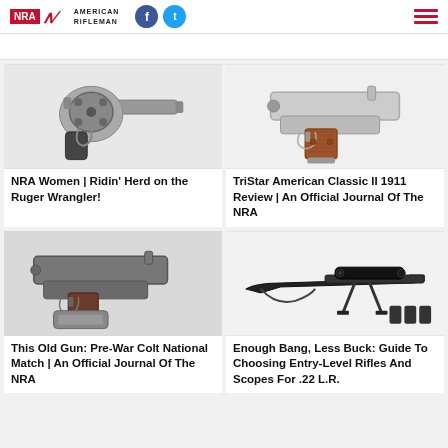NRA American Rifleman
[Figure (photo): Silver/stainless steel revolver (Ruger Wrangler) on white background]
NRA Women | Ridin' Herd on the Ruger Wrangler!
[Figure (photo): Silver 1911 pistol with wood grips (TriStar American Classic II) on white background]
TriStar American Classic II 1911 Review | An Official Journal Of The NRA
[Figure (photo): Pre-War Colt National Match pistol with holster on gray background]
This Old Gun: Pre-War Colt National Match | An Official Journal Of The NRA
[Figure (photo): Black bolt-action rifle with scope and bipod, with magazines on white background]
Enough Bang, Less Buck: Guide To Choosing Entry-Level Rifles And Scopes For .22 L.R.